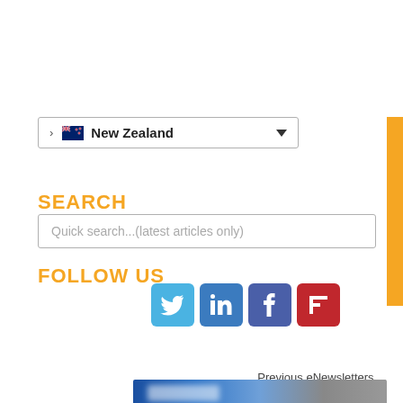> New Zealand
SEARCH
Quick search...(latest articles only)
FOLLOW US
[Figure (infographic): Social media icons: Twitter (blue bird), LinkedIn (blue 'in'), Facebook (blue/dark 'f'), Flipboard (red 'F')]
[Figure (infographic): Orange rounded button with envelope icon and text 'SUBSCRIBE NOW']
Previous eNewsletters....
[Figure (photo): Blurred photo with blue background and partially visible text/logo]